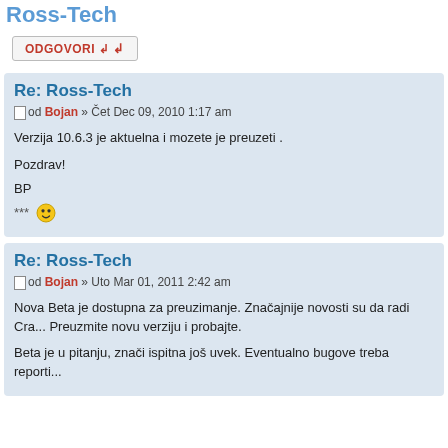Ross-Tech
ODGOVORI ↲
Re: Ross-Tech
od Bojan » Čet Dec 09, 2010 1:17 am
Verzija 10.6.3 je aktuelna i mozete je preuzeti .

Pozdrav!
BP
*** 😎
Re: Ross-Tech
od Bojan » Uto Mar 01, 2011 2:42 am
Nova Beta je dostupna za preuzimanje. Značajnije novosti su da radi Cra... Preuzmite novu verziju i probajte.

Beta je u pitanju, znači ispitna još uvek. Eventualno bugove treba reporti...